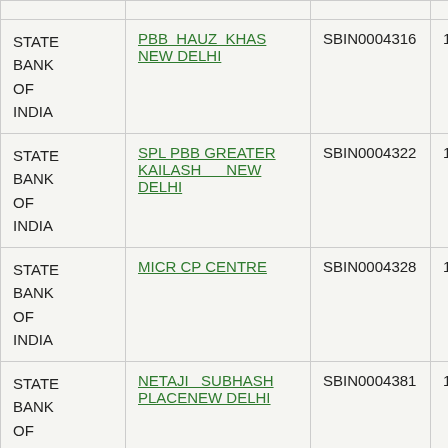| Bank Name | Branch | IFSC | MICR |
| --- | --- | --- | --- |
| STATE BANK OF INDIA | PBB HAUZ KHAS NEW DELHI | SBIN0004316 | 110002237 |
| STATE BANK OF INDIA | SPL PBB GREATER KAILASH NEW DELHI | SBIN0004322 | 110002406 |
| STATE BANK OF INDIA | MICR CP CENTRE | SBIN0004328 | 110002599 |
| STATE BANK OF INDIA | NETAJI SUBHASH PLACENEW DELHI | SBIN0004381 | 110002405 |